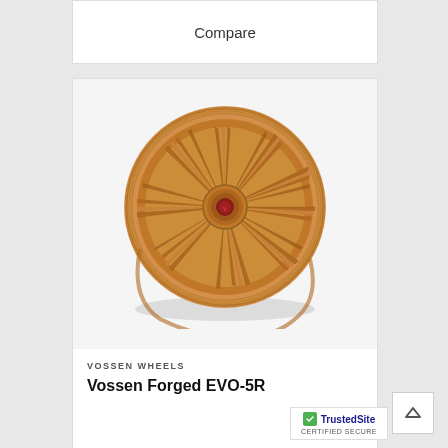Compare
[Figure (photo): Vossen Forged EVO-5R wheel in bronze/copper finish, showing multi-spoke forged alloy wheel design with polished copper/bronze color]
VOSSEN WHEELS
Vossen Forged EVO-5R
[Figure (logo): TrustedSite CERTIFIED SECURE badge with green checkmark]